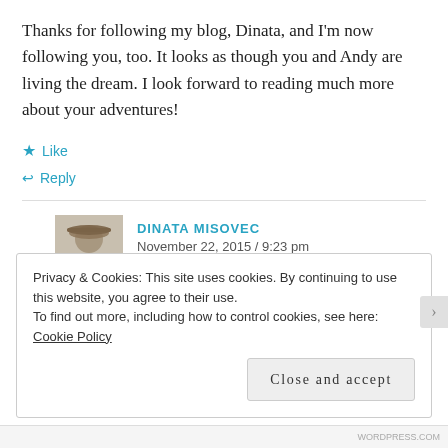Thanks for following my blog, Dinata, and I'm now following you, too. It looks as though you and Andy are living the dream. I look forward to reading much more about your adventures!
★ Like
↩ Reply
DINATA MISOVEC
November 22, 2015 / 9:23 pm
Privacy & Cookies: This site uses cookies. By continuing to use this website, you agree to their use.
To find out more, including how to control cookies, see here: Cookie Policy
Close and accept